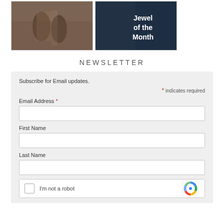[Figure (photo): Two photos side by side: left shows people at an event in patterned clothing, right shows a dark background with text 'Jewel of the Month' and a hand with rings.]
NEWSLETTER
Subscribe for Email updates.
* indicates required
Email Address *
First Name
Last Name
[Figure (screenshot): reCAPTCHA widget with checkbox and 'I'm not a robot' text]